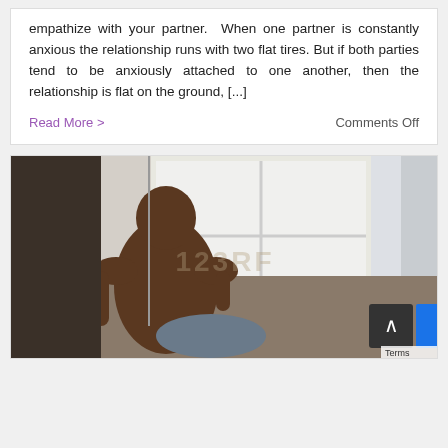empathize with your partner. When one partner is constantly anxious the relationship runs with two flat tires. But if both parties tend to be anxiously attached to one another, then the relationship is flat on the ground, [...]
Read More >
Comments Off
[Figure (photo): A person with their back to the camera sitting on a bed, shot from behind, with a window and indoor plants in the background. A watermark overlay is visible. A scroll-to-top button and Terms label appear in the bottom right.]